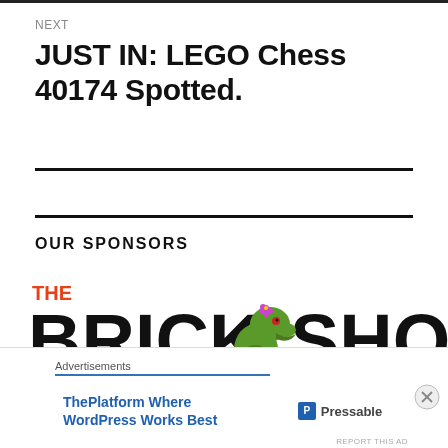NEXT
JUST IN: LEGO Chess 40174 Spotted.
OUR SPONSORS
[Figure (logo): The Brick Show logo with orange 'THE' text, large bold 'BRICK SHOW' text in dark/black, and a cartoon green dinosaur/dragon mascot in the middle]
Advertisements
ThePlatform Where WordPress Works Best
[Figure (logo): Pressable logo with blue 'P' icon and 'Pressable' text]